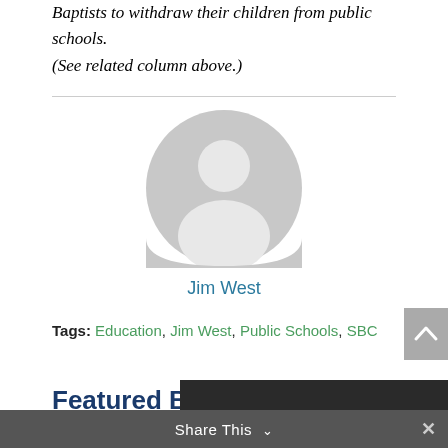Baptists to withdraw their children from public schools. (See related column above.)
[Figure (illustration): Gray circular avatar/user profile placeholder icon — large circle with a small circle head and rounded shoulders shape cutout]
Jim West
Tags: Education, Jim West, Public Schools, SBC
Featured Book
Share This